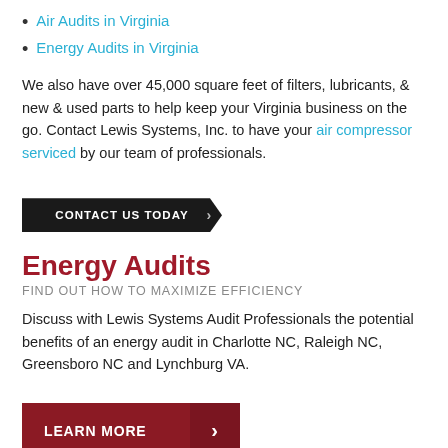Air Audits in Virginia
Energy Audits in Virginia
We also have over 45,000 square feet of filters, lubricants, & new & used parts to help keep your Virginia business on the go. Contact Lewis Systems, Inc. to have your air compressor serviced by our team of professionals.
[Figure (other): Dark button with text CONTACT US TODAY and a chevron arrow]
Energy Audits
FIND OUT HOW TO MAXIMIZE EFFICIENCY
Discuss with Lewis Systems Audit Professionals the potential benefits of an energy audit in Charlotte NC, Raleigh NC, Greensboro NC and Lynchburg VA.
[Figure (other): Red button with text LEARN MORE and a chevron arrow]